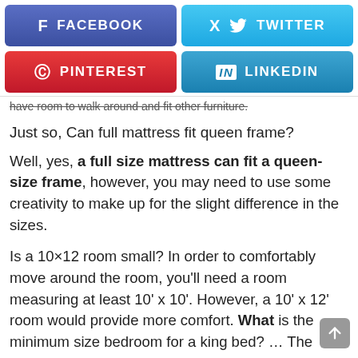[Figure (screenshot): Social media share buttons: Facebook (blue-purple), Twitter (light blue), Pinterest (red), LinkedIn (blue)]
have room to walk around and fit other furniture.
Just so, Can full mattress fit queen frame?
Well, yes, a full size mattress can fit a queen-size frame, however, you may need to use some creativity to make up for the slight difference in the sizes.
Is a 10×12 room small? In order to comfortably move around the room, you'll need a room measuring at least 10' x 10'. However, a 10' x 12' room would provide more comfort. What is the minimum size bedroom for a king bed? … The minimum size room